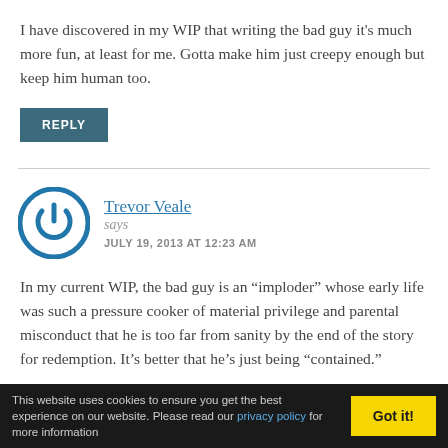I have discovered in my WIP that writing the bad guy it’s much more fun, at least for me. Gotta make him just creepy enough but keep him human too.
REPLY
Trevor Veale says
JULY 19, 2013 AT 12:23 AM
In my current WIP, the bad guy is an “imploder” whose early life was such a pressure cooker of material privilege and parental misconduct that he is too far from sanity by the end of the story for redemption. It’s better that he’s just being “contained.”
This website uses cookies to ensure you get the best experience on our website. Please read our privacy policy for more information